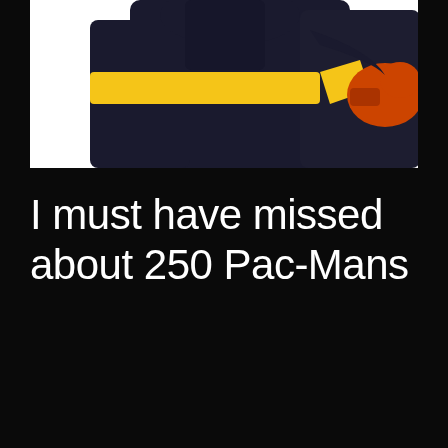[Figure (photo): Partial view of a person in a dark Pac-Man style costume or mascot suit with yellow belt/sash and orange gloves, cropped at the top of the page against a white background.]
I must have missed about 250 Pac-Mans